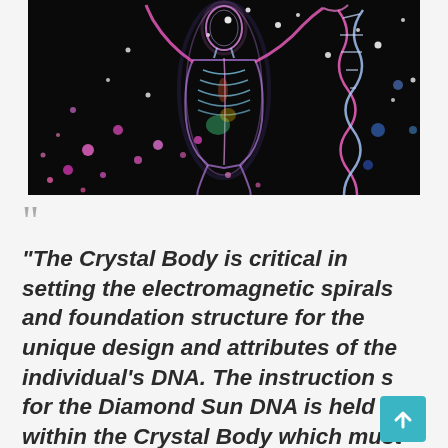[Figure (illustration): Digital illustration of a glowing human body figure with colorful neon lines showing skeletal and muscular structure, set against a black background with scattered glowing orbs and particles in pink, white, and blue colors. A DNA double helix is visible on the right side.]
“The Crystal Body is critical in setting the electromagnetic spirals and foundation structure for the unique design and attributes of the individual’s DNA. The instruction s for the Diamond Sun DNA is held within the Crystal Body which must
[Figure (other): Teal/cyan scroll-to-top button with upward arrow icon]